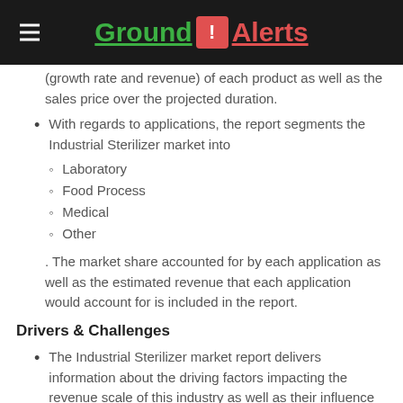Ground ! Alerts
(growth rate and revenue) of each product as well as the sales price over the projected duration.
With regards to applications, the report segments the Industrial Sterilizer market into
Laboratory
Food Process
Medical
Other
. The market share accounted for by each application as well as the estimated revenue that each application would account for is included in the report.
Drivers & Challenges
The Industrial Sterilizer market report delivers information about the driving factors impacting the revenue scale of this industry as well as their influence on the commercialization graph of this business sphere.
The research study incorporates the latest trends proliferating the Industrial Sterilizer market in conjunction